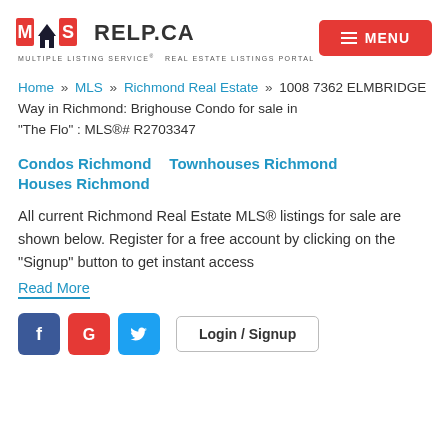[Figure (logo): MLS RELP.CA logo — Multiple Listing Service Real Estate Listings Portal wordmark with house icon, and a red MENU button]
Home » MLS » Richmond Real Estate » 1008 7362 ELMBRIDGE Way in Richmond: Brighouse Condo for sale in "The Flo" : MLS®# R2703347
Condos Richmond
Townhouses Richmond
Houses Richmond
All current Richmond Real Estate MLS® listings for sale are shown below. Register for a free account by clicking on the "Signup" button to get instant access
Read More
[Figure (infographic): Social login buttons: Facebook (blue), Google (red), Twitter (blue), and Login / Signup button]